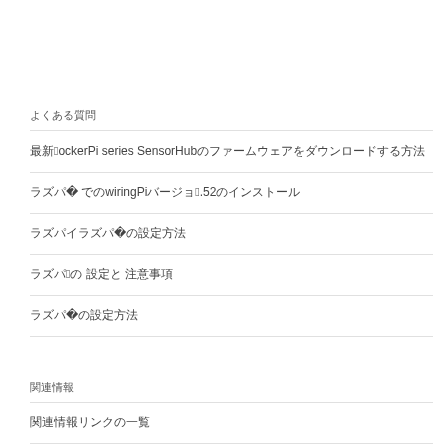よくある質問
最新のDockerPi series SensorHubのファームウェアをダウンロードする方法
ラズパイ4B でのwiringPiバージョン2.52のインストール
ラズパイラズパイ4Bの設定方法
ラズパイ4の 設定と 注意事項
ラズパイ4Bの設定方法
関連情報
関連情報リンクの一覧